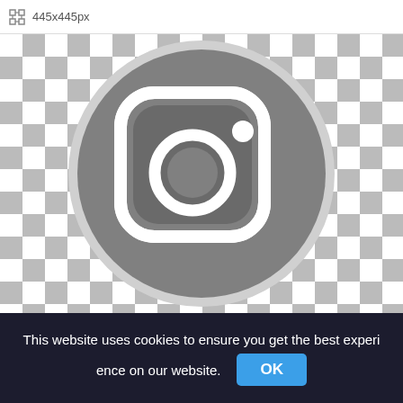445x445px
[Figure (logo): Instagram logo icon rendered in grayscale on a transparent (checkerboard) background. A gray circle contains the Instagram camera icon (rounded square outline with inner circle and dot) in white and dark gray tones.]
This website uses cookies to ensure you get the best experience on our website.